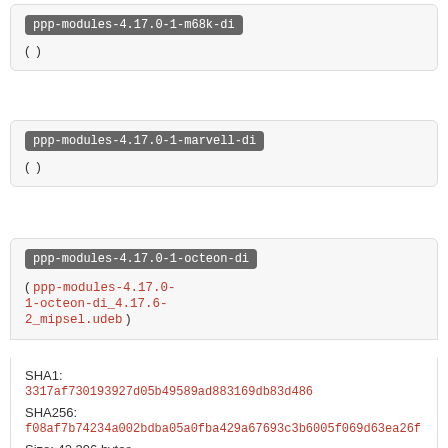ppp-modules-4.17.0-1-m68k-di
( )
ppp-modules-4.17.0-1-marvell-di
( )
ppp-modules-4.17.0-1-octeon-di
( ppp-modules-4.17.0-1-octeon-di_4.17.6-2_mipsel.udeb )
SHA1:
3317af730193927d05b49589ad883169db83d486
SHA256:
f08af7b74234a002bdba05a0fba429a67693c3b6005f069d63ea26f
Size: 42,396 bytes